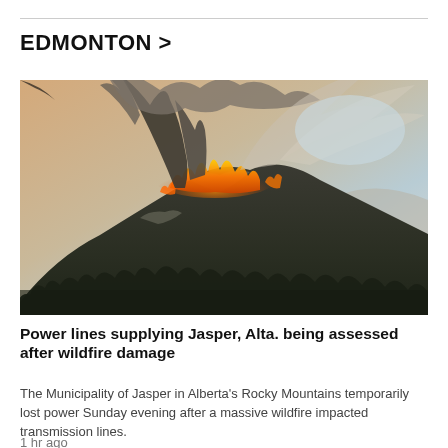EDMONTON >
[Figure (photo): Aerial photograph of a massive wildfire burning on a forested mountain slope. Flames and intense orange glow visible at the ridge line with massive plumes of dark grey and tan smoke billowing upward into a hazy sky. Dark green forested lower slopes in foreground, hazy mountain ridges in background.]
Power lines supplying Jasper, Alta. being assessed after wildfire damage
The Municipality of Jasper in Alberta's Rocky Mountains temporarily lost power Sunday evening after a massive wildfire impacted transmission lines.
1 hr ago